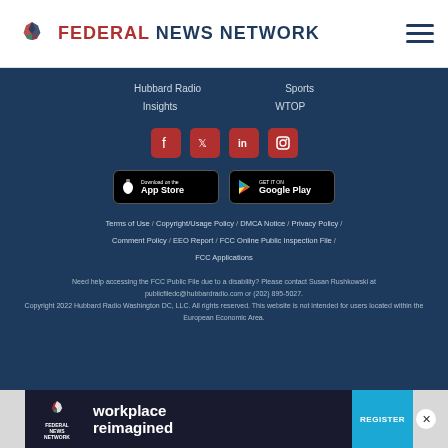Federal News Network
Hubbard Radio
Insights
Sports
WTOP
[Figure (logo): Social media icons: Facebook, Twitter, LinkedIn, Instagram]
[Figure (logo): App store badges: Download on the App Store, Get it on Google Play]
Terms of Use / Copyright/Usage Policy / DMCA Notice / Privacy Policy / Comment Policy / EEO Report / FCC Online Public Inspection File / FCC Applications
Need help accessing the FCC Public File due to a disability? Please contact Susan Rushkowski at publicfiledc@hubbardradio.com or (202) 895-5027. Copyright 2022 Hubbard Radio Washington DC, LLC. All rights reserved. This website is not intended for users located within the European Economic Area.
[Figure (infographic): Advertisement banner: Federal News Network - workplace reimagined - REGISTER button]